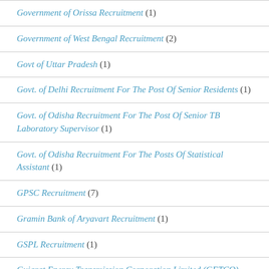Government of Orissa Recruitment (1)
Government of West Bengal Recruitment (2)
Govt of Uttar Pradesh (1)
Govt. of Delhi Recruitment For The Post Of Senior Residents (1)
Govt. of Odisha Recruitment For The Post Of Senior TB Laboratory Supervisor (1)
Govt. of Odisha Recruitment For The Posts Of Statistical Assistant (1)
GPSC Recruitment (7)
Gramin Bank of Aryavart Recruitment (1)
GSPL Recruitment (1)
Gujarat Energy Transmission Corporation Limited (GETCO) Recruitment (1)